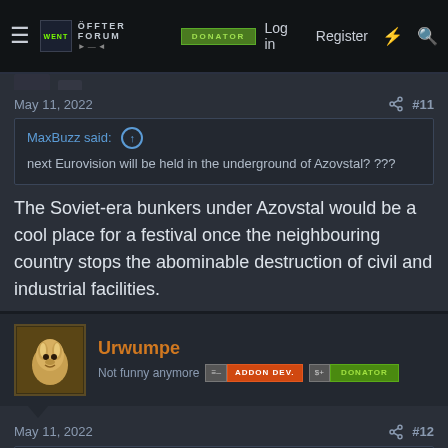Forum navigation bar with Log in, Register, search icons
May 11, 2022  #11
MaxBuzz said: next Eurovision will be held in the underground of Azovstal? ???
The Soviet-era bunkers under Azovstal would be a cool place for a festival once the neighbouring country stops the abominable destruction of civil and industrial facilities.
Urwumpe  Not funny anymore  ADDON DEV.  DONATOR
May 11, 2022  #12
Sunhillow said: The Soviet-era bunkers under Azovstal would be a cool place for a festival once the neighbouring country stops the abominable destruction of civil and industrial facilities.